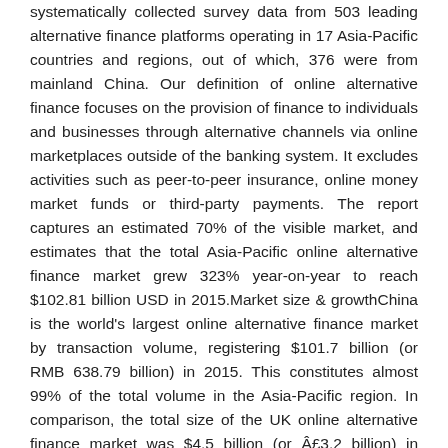systematically collected survey data from 503 leading alternative finance platforms operating in 17 Asia-Pacific countries and regions, out of which, 376 were from mainland China. Our definition of online alternative finance focuses on the provision of finance to individuals and businesses through alternative channels via online marketplaces outside of the banking system. It excludes activities such as peer-to-peer insurance, online money market funds or third-party payments. The report captures an estimated 70% of the visible market, and estimates that the total Asia-Pacific online alternative finance market grew 323% year-on-year to reach $102.81 billion USD in 2015.Market size & growthChina is the world's largest online alternative finance market by transaction volume, registering $101.7 billion (or RMB 638.79 billion) in 2015. This constitutes almost 99% of the total volume in the Asia-Pacific region. In comparison, the total size of the UK online alternative finance market was $4.5 billion (or Â£3.2 billion) in 2015. The Chinese online alternative finance market grew from a relatively low base of $5.56 billion in 2013 to reach $24.30 billion in 2014 and then went on to reach $101.7 billion in 2015 - an average